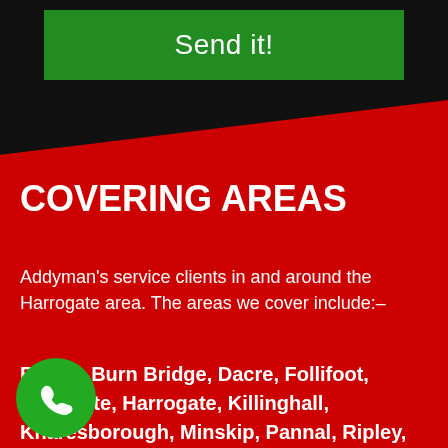[Figure (other): Green 'Send it!' button on dark background, with diagonal transition to red section below]
COVERING AREAS
Addyman's service clients in and around the Harrogate area. The areas we cover include:–
Bellam, Burn Bridge, Dacre, Follifoot, Goldsthwaite, Harrogate, Killinghall, Knaresborough, Minskip, Pannal, Ripley,
[Figure (other): Green circular phone icon button in bottom left corner]